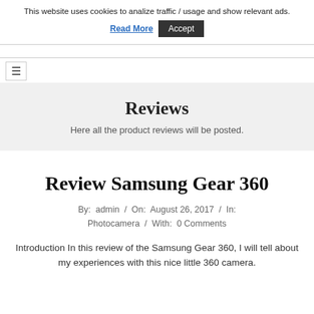This website uses cookies to analize traffic / usage and show relevant ads.
Read More  Accept
≡
Reviews
Here all the product reviews will be posted.
Review Samsung Gear 360
By: admin / On: August 26, 2017 / In: Photocamera / With: 0 Comments
Introduction In this review of the Samsung Gear 360, I will tell about my experiences with this nice little 360 camera.